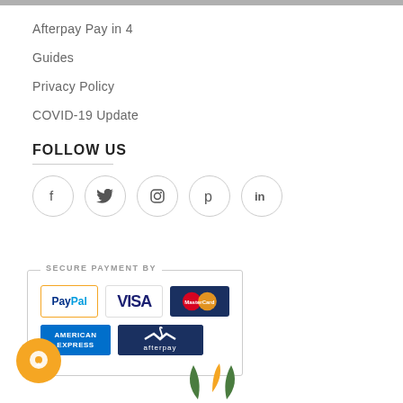Afterpay Pay in 4
Guides
Privacy Policy
COVID-19 Update
FOLLOW US
[Figure (infographic): Five social media icon circles: Facebook, Twitter, Instagram, Pinterest, LinkedIn]
[Figure (infographic): Secure Payment By box with PayPal, VISA, MasterCard, American Express, and Afterpay logos]
[Figure (illustration): Orange chat bubble icon at bottom left]
[Figure (illustration): Plant/leaf decoration at bottom center]